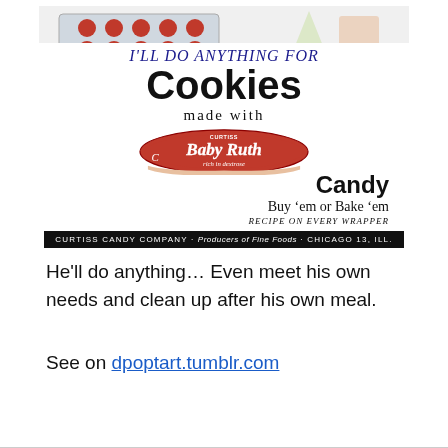[Figure (illustration): Vintage Baby Ruth candy advertisement showing cookies on a baking tray, text 'I'll do anything for Cookies made with Curtiss Baby Ruth rich in dextrose Candy, Buy em or Bake em, Recipe on every wrapper', footer bar reading 'Curtiss Candy Company · Producers of Fine Foods · Chicago 13, Ill.']
He'll do anything… Even meet his own needs and clean up after his own meal.
See on dpoptart.tumblr.com